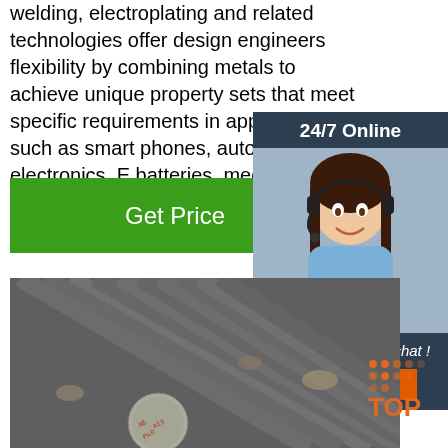welding, electroplating and related technologies offer design engineers flexibility by combining metals to achieve unique property sets that meet specific requirements in applications such as smart phones, automotive electronics, E batteries, medical devices, mining equip more.
[Figure (other): 24/7 Online customer service widget showing a woman with headset, with 'Click here for free chat!' text and an orange QUOTATION button, on dark navy background]
[Figure (photo): Industrial steel round bars/rods stacked together, photographed from an angle showing their ends with red markings]
[Figure (logo): Orange TOP badge/logo in bottom right corner]